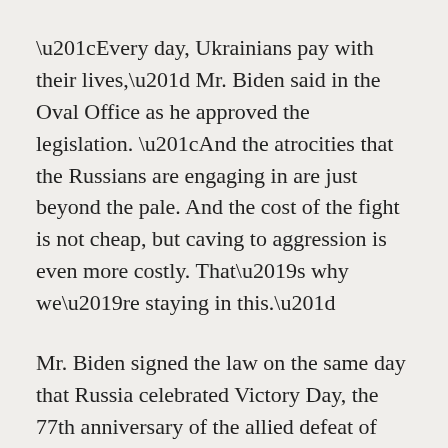“Every day, Ukrainians pay with their lives,” Mr. Biden said in the Oval Office as he approved the legislation. “And the atrocities that the Russians are engaging in are just beyond the pale. And the cost of the fight is not cheap, but caving to aggression is even more costly. That’s why we’re staying in this.”
Mr. Biden signed the law on the same day that Russia celebrated Victory Day, the 77th anniversary of the allied defeat of Nazi Germany, a feat facilitated in part by the original Lend-Lease Act.
“This day is supposed to be about celebrating peace and unity in Europe and the defeat of Nazis in World War II,” said Jen Psaki, the White House press secretary. “And instead, Putin is perverting history, changing history, or attempting to change it, I should say, to